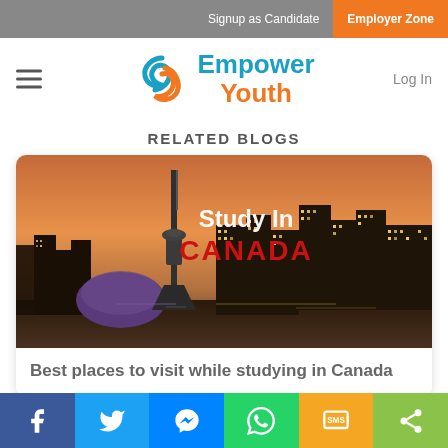Signup as Candidate | Employer Zone
[Figure (logo): Empower Youth logo with cyan/orange swoosh icon and colored text]
Log In
RELATED BLOGS
[Figure (photo): Toronto city skyline at night with CN Tower, overlaid with text 'Study In CANADA']
Best places to visit while studying in Canada
Social share bar: Facebook, Twitter, Messenger, WhatsApp, SMS, Share